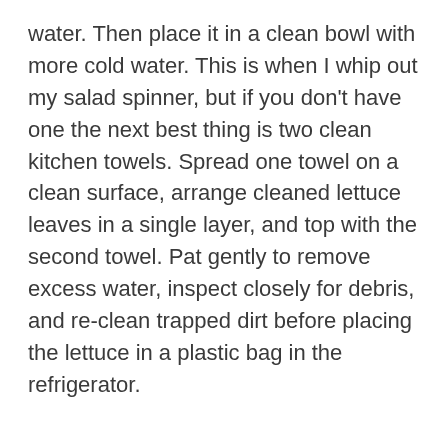water. Then place it in a clean bowl with more cold water. This is when I whip out my salad spinner, but if you don't have one the next best thing is two clean kitchen towels. Spread one towel on a clean surface, arrange cleaned lettuce leaves in a single layer, and top with the second towel. Pat gently to remove excess water, inspect closely for debris, and re-clean trapped dirt before placing the lettuce in a plastic bag in the refrigerator.